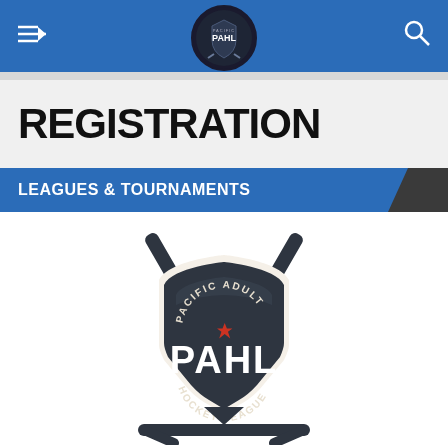[Figure (screenshot): Mobile app navigation bar with blue background, hamburger/back icon on left, PAHL circular logo in center, search icon on right]
REGISTRATION
LEAGUES & TOURNAMENTS
[Figure (logo): Pacific Adult Hockey League (PAHL) shield logo with hockey sticks crossed behind shield, text reading 'PACIFIC ADULT HOCKEY LEAGUE' around a central 'PAHL' lettering with a red maple leaf above it, dark navy/charcoal color scheme]